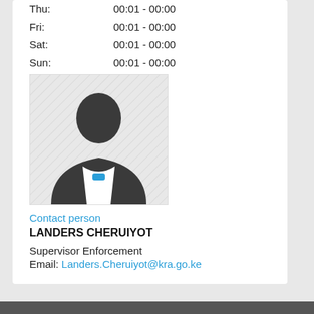Thu: 00:01 - 00:00
Fri: 00:01 - 00:00
Sat: 00:01 - 00:00
Sun: 00:01 - 00:00
[Figure (photo): Generic male silhouette placeholder profile picture with blue tie element]
Contact person
LANDERS CHERUIYOT
Supervisor Enforcement
Email: Landers.Cheruiyot@kra.go.ke